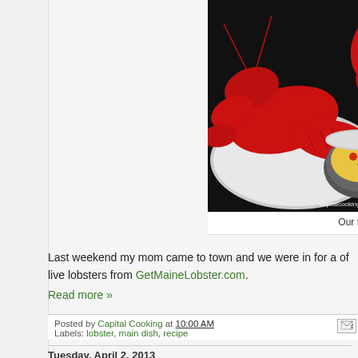[Figure (photo): Cooked red lobster on a white plate with a small bowl of yellow dipping sauce. Watermark reads capitalcookingshow.com]
Our finished me
Last weekend my mom came to town and we were in for a of live lobsters from GetMaineLobster.com.
Read more »
Posted by Capital Cooking at 10:00 AM
Labels: lobster, main dish, recipe
Tuesday, April 2, 2013